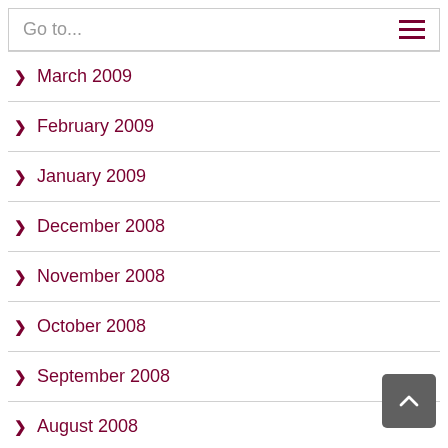Go to...
March 2009
February 2009
January 2009
December 2008
November 2008
October 2008
September 2008
August 2008